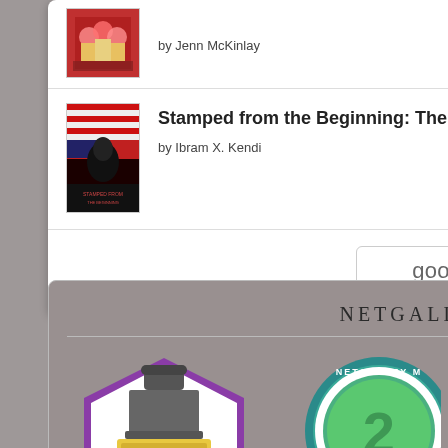[Figure (illustration): Book cover thumbnail - colorful cupcake/baking theme book by Jenn McKinlay]
by Jenn McKinlay
[Figure (illustration): Book cover for Stamped from the Beginning - red and dark themed cover]
Stamped from the Beginning: The Definitive History of Racist Ideas in America
by Ibram X. Kendi
[Figure (logo): Goodreads button/logo in a rounded rectangle border]
NETGALLEY BADGES
[Figure (illustration): NetGalley badge - purple hexagon shape with stamp/gavel icon and yellow base]
[Figure (illustration): NetGalley Member badge - circular teal badge with green swirl and star, partially visible]